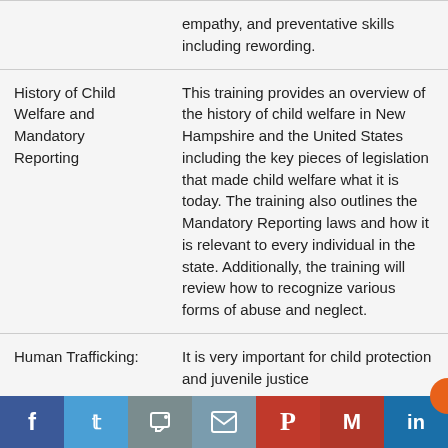|  | empathy, and preventative skills including rewording. |
| History of Child Welfare and Mandatory Reporting | This training provides an overview of the history of child welfare in New Hampshire and the United States including the key pieces of legislation that made child welfare what it is today. The training also outlines the Mandatory Reporting laws and how it is relevant to every individual in the state. Additionally, the training will review how to recognize various forms of abuse and neglect. |
| Human Trafficking: | It is very important for child protection and juvenile justice |